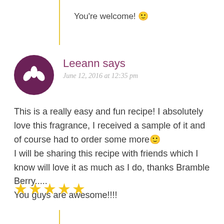You're welcome! 🙂
Leeann says
June 12, 2016 at 12:35 pm
[Figure (illustration): Round dark purple avatar icon with a white plant/sprout symbol (three leaves)]
This is a really easy and fun recipe! I absolutely love this fragrance, I received a sample of it and of course had to order some more 🙂
I will be sharing this recipe with friends which I know will love it as much as I do, thanks Bramble Berry.....
You guys are awesome!!!!
★★★★★